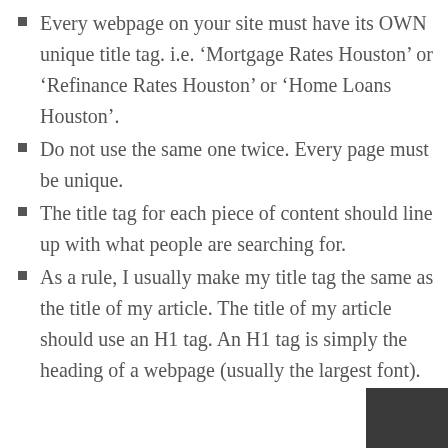Every webpage on your site must have its OWN unique title tag. i.e. ‘Mortgage Rates Houston’ or ‘Refinance Rates Houston’ or ‘Home Loans Houston’.
Do not use the same one twice. Every page must be unique.
The title tag for each piece of content should line up with what people are searching for.
As a rule, I usually make my title tag the same as the title of my article. The title of my article should use an H1 tag. An H1 tag is simply the heading of a webpage (usually the largest font).